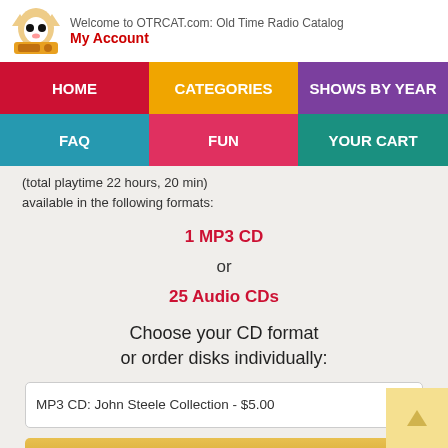Welcome to OTRCAT.com: Old Time Radio Catalog
My Account
(total playtime 22 hours, 20 min)
available in the following formats:
1 MP3 CD
or
25 Audio CDs
Choose your CD format
or order disks individually:
MP3 CD: John Steele Collection - $5.00
Add to Cart
Add to wishlist